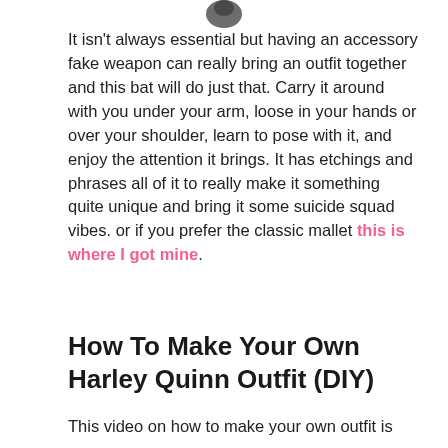[Figure (illustration): Partial image of an object at the top of the page (cropped)]
It isn't always essential but having an accessory fake weapon can really bring an outfit together and this bat will do just that. Carry it around with you under your arm, loose in your hands or over your shoulder, learn to pose with it, and enjoy the attention it brings. It has etchings and phrases all of it to really make it something quite unique and bring it some suicide squad vibes. or if you prefer the classic mallet this is where I got mine.
How To Make Your Own Harley Quinn Outfit (DIY)
This video on how to make your own outfit is